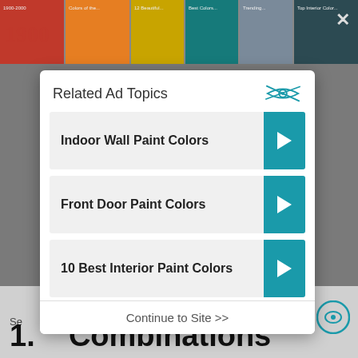[Figure (screenshot): Background showing color swatch strips at top and webpage content at bottom]
Related Ad Topics
Indoor Wall Paint Colors
Front Door Paint Colors
10 Best Interior Paint Colors
Choosing Interior Paint Colors
Continue to Site >>